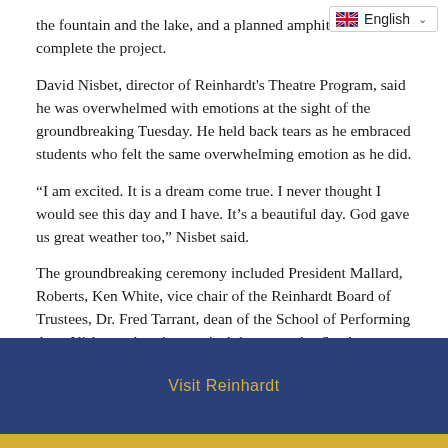the fountain and the lake, and a planned amphitheater will complete the project.
David Nisbet, director of Reinhardt's Theatre Program, said he was overwhelmed with emotions at the sight of the groundbreaking Tuesday. He held back tears as he embraced students who felt the same overwhelming emotion as he did.
“I am excited. It is a dream come true. I never thought I would see this day and I have. It’s a beautiful day. God gave us great weather too,” Nisbet said.
The groundbreaking ceremony included President Mallard, Roberts, Ken White, vice chair of the Reinhardt Board of Trustees, Dr. Fred Tarrant, dean of the School of Performing Arts, Nisbet and senior musical theatre major Sarah Williams. The program featured Reinhardt students singing “Make Our Garden
Visit Reinhardt